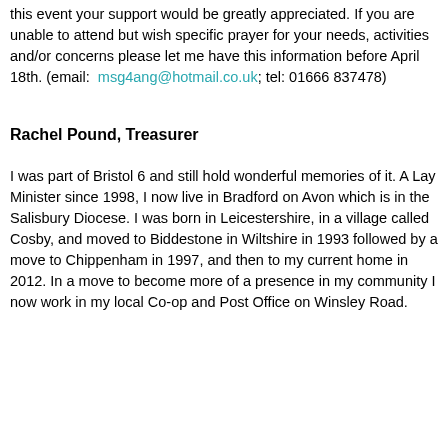this event your support would be greatly appreciated.  If you are unable to attend but wish specific prayer for your needs, activities and/or concerns please let me have this information before April 18th. (email:  msg4ang@hotmail.co.uk; tel: 01666 837478)
Rachel Pound, Treasurer
I was part of Bristol 6 and still hold wonderful memories of it.  A Lay Minister since 1998, I now live in Bradford on Avon which is in the Salisbury Diocese.  I was born in Leicestershire, in a village called Cosby, and moved to Biddestone in Wiltshire in 1993 followed by a move to Chippenham in 1997, and then to my current home in 2012.  In a move to become more of a presence in my community I now work in my local Co-op and Post Office on Winsley Road.